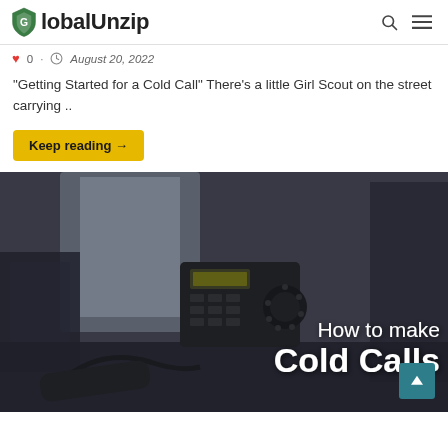GlobalUnzip
0  August 20, 2022
“Getting Started for a Cold Call” There’s a little Girl Scout on the street carrying ..
Keep reading →
[Figure (photo): Office desk telephone (black) in a blurred office environment with text overlay reading 'How to make Cold Calls']